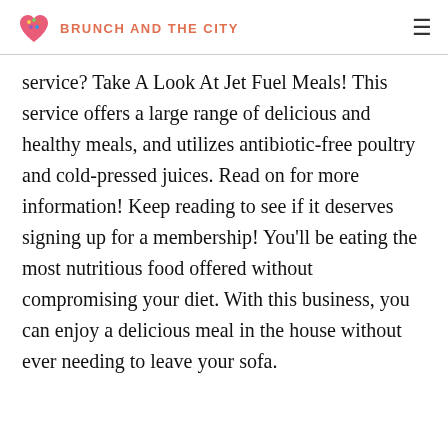BRUNCH AND THE CITY
service? Take A Look At Jet Fuel Meals! This service offers a large range of delicious and healthy meals, and utilizes antibiotic-free poultry and cold-pressed juices. Read on for more information! Keep reading to see if it deserves signing up for a membership! You’ll be eating the most nutritious food offered without compromising your diet. With this business, you can enjoy a delicious meal in the house without ever needing to leave your sofa.